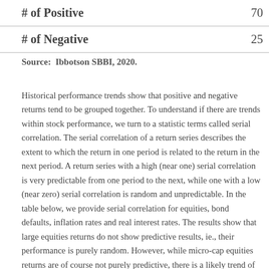|  |  |
| --- | --- |
| # of Positive | 70 |
| # of Negative | 25 |
Source: Ibbotson SBBI, 2020.
Historical performance trends show that positive and negative returns tend to be grouped together. To understand if there are trends within stock performance, we turn to a statistic terms called serial correlation. The serial correlation of a return series describes the extent to which the return in one period is related to the return in the next period. A return series with a high (near one) serial correlation is very predictable from one period to the next, while one with a low (near zero) serial correlation is random and unpredictable. In the table below, we provide serial correlation for equities, bond defaults, inflation rates and real interest rates. The results show that large equities returns do not show predictive results, ie., their performance is purely random. However, while micro-cap equities returns are of course not purely predictive, there is a likely trend of serial correlation that has been observed within their historical performance.